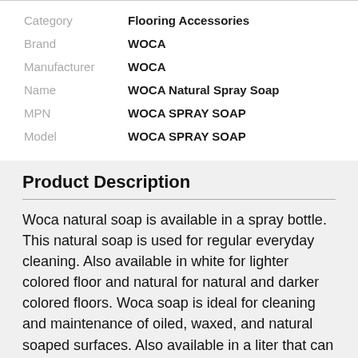| Label | Value |
| --- | --- |
| Category | Flooring Accessories |
| Brand | WOCA |
| Manufacturer | WOCA |
| Name | WOCA Natural Spray Soap |
| MPN | WOCA SPRAY SOAP |
| Model | WOCA SPRAY SOAP |
Product Description
Woca natural soap is available in a spray bottle. This natural soap is used for regular everyday cleaning. Also available in white for lighter colored floor and natural for natural and darker colored floors. Woca soap is ideal for cleaning and maintenance of oiled, waxed, and natural soaped surfaces. Also available in a liter that can be diluted down with water to put in a spray bottle.